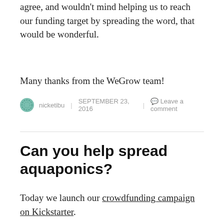agree, and wouldn't mind helping us to reach our funding target by spreading the word, that would be wonderful.
Many thanks from the WeGrow team!
nicketibu | SEPTEMBER 23, 2016 | Leave a comment
Can you help spread aquaponics?
Today we launch our crowdfunding campaign on Kickstarter.